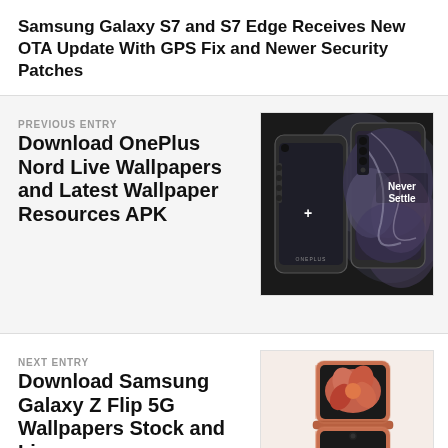Samsung Galaxy S7 and S7 Edge Receives New OTA Update With GPS Fix and Newer Security Patches
PREVIOUS ENTRY
Download OnePlus Nord Live Wallpapers and Latest Wallpaper Resources APK
[Figure (photo): OnePlus Nord smartphone shown from front and back, with 'Never Settle' text on the screen, against a dark background]
NEXT ENTRY
Download Samsung Galaxy Z Flip 5G Wallpapers Stock and Live